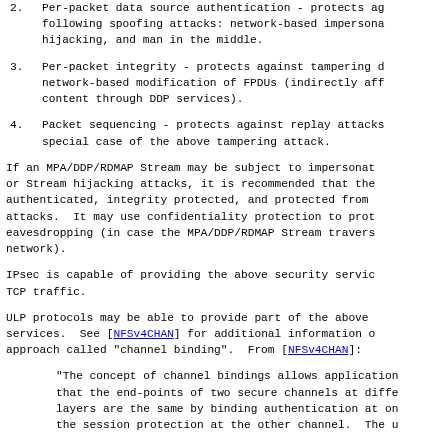2. Per-packet data source authentication - protects against the following spoofing attacks: network-based impersonation, Stream hijacking, and man in the middle.
3. Per-packet integrity - protects against tampering during transit: network-based modification of FPDUs (indirectly affecting content through DDP services).
4. Packet sequencing - protects against replay attacks, which are a special case of the above tampering attack.
If an MPA/DDP/RDMAP Stream may be subject to impersonation or Stream hijacking attacks, it is recommended that the Stream be authenticated, integrity protected, and protected from replay attacks.  It may use confidentiality protection to protect against eavesdropping (in case the MPA/DDP/RDMAP Stream traverses an insecure network).
IPsec is capable of providing the above security services for TCP traffic.
ULP protocols may be able to provide part of the above security services.  See [NFSv4CHAN] for additional information on an approach called "channel binding".  From [NFSv4CHAN]:
"The concept of channel bindings allows application to verify that the end-points of two secure channels at different protocol layers are the same by binding authentication at one channel to the session protection at the other channel.  The u